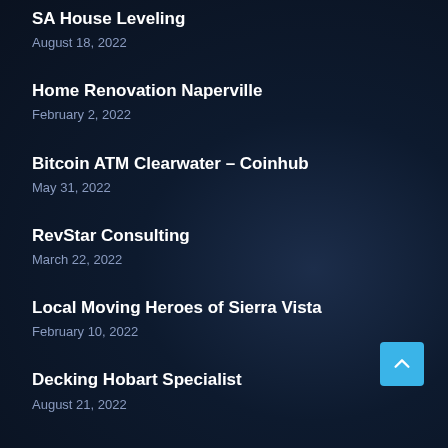SA House Leveling
August 18, 2022
Home Renovation Naperville
February 2, 2022
Bitcoin ATM Clearwater – Coinhub
May 31, 2022
RevStar Consulting
March 22, 2022
Local Moving Heroes of Sierra Vista
February 10, 2022
Decking Hobart Specialist
August 21, 2022